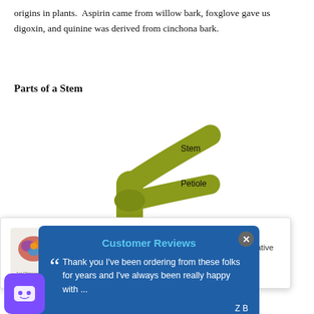origins in plants. Aspirin came from willow bark, foxglove gave us digoxin, and quinine was derived from cinchona bark.
Parts of a Stem
[Figure (illustration): Botanical diagram of plant stem parts showing labeled branches: Stem (upper branch), Petiole (lower-right branch), and Node (junction point). The stem is olive/yellow-green colored.]
Pertiole – Is a leaf stalk or
[Figure (other): Notification popup for '1st Chinese Herbs' with logo showing a colorful Chinese dragon. Text: 'Be the first to know about new products, sales, informative blogs and more! Please allow us to share']
[Figure (other): Blue overlay popup titled 'Customer Reviews' with a quote: 'Thank you I've been ordering from these folks for years and I've always been really happy with ...' attributed to Z B]
[Figure (other): Purple chatbot icon with a smiley face at bottom left]